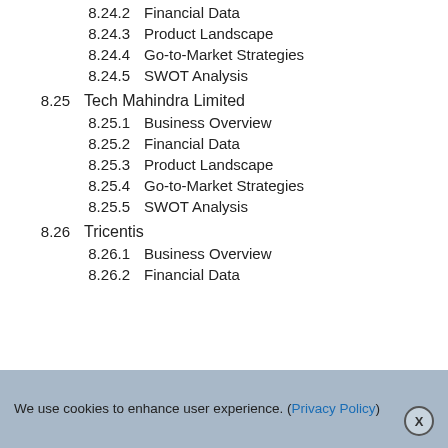8.24.2    Financial Data
8.24.3    Product Landscape
8.24.4    Go-to-Market Strategies
8.24.5    SWOT Analysis
8.25    Tech Mahindra Limited
8.25.1    Business Overview
8.25.2    Financial Data
8.25.3    Product Landscape
8.25.4    Go-to-Market Strategies
8.25.5    SWOT Analysis
8.26    Tricentis
8.26.1    Business Overview
8.26.2    Financial Data
We use cookies to enhance user experience. (Privacy Policy)